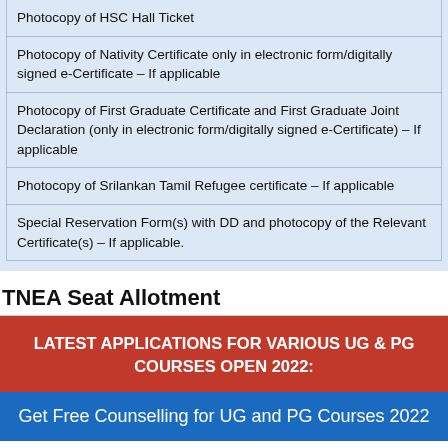| Photocopy of HSC Hall Ticket |
| Photocopy of Nativity Certificate only in electronic form/digitally signed e-Certificate – If applicable |
| Photocopy of First Graduate Certificate and First Graduate Joint Declaration (only in electronic form/digitally signed e-Certificate) – If applicable |
| Photocopy of Srilankan Tamil Refugee certificate – If applicable |
| Special Reservation Form(s) with DD and photocopy of the Relevant Certificate(s) – If applicable. |
TNEA Seat Allotment
[Figure (infographic): Red banner: LATEST APPLICATIONS FOR VARIOUS UG & PG COURSES OPEN 2022:]
[Figure (infographic): Blue banner: Get Free Counselling for UG and PG Courses 2022]